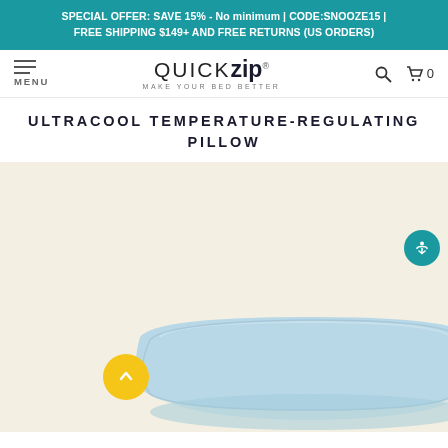SPECIAL OFFER: SAVE 15% - No minimum | CODE:SNOOZE15 | FREE SHIPPING $149+ AND FREE RETURNS (US ORDERS)
[Figure (logo): QuickZip logo with tagline MAKE YOUR BED BETTER, navigation bar with hamburger menu, search icon, and cart icon showing 0 items]
ULTRACOOL TEMPERATURE-REGULATING PILLOW
[Figure (photo): Product photo of a light blue pillow on a cream/off-white background, with a yellow circular scroll-up button at bottom left and a teal circular accessibility button on the right side]